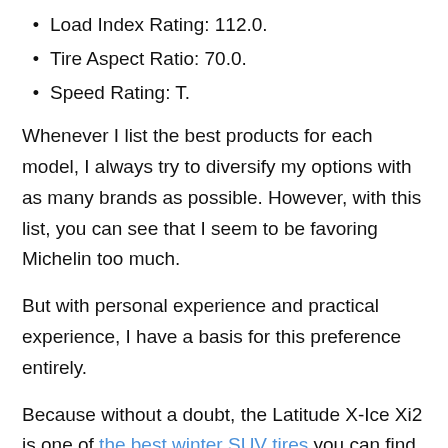Load Index Rating: 112.0.
Tire Aspect Ratio: 70.0.
Speed Rating: T.
Whenever I list the best products for each model, I always try to diversify my options with as many brands as possible. However, with this list, you can see that I seem to be favoring Michelin too much.
But with personal experience and practical experience, I have a basis for this preference entirely.
Because without a doubt, the Latitude X-Ice Xi2 is one of the best winter SUV tires you can find today.